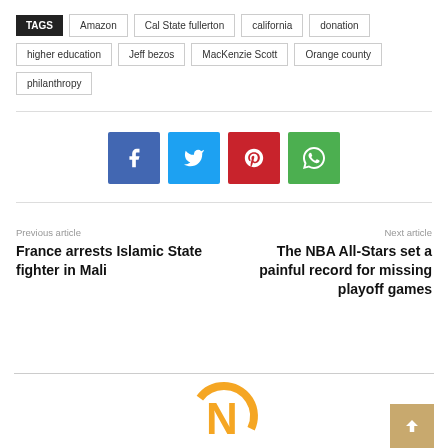TAGS: Amazon | Cal State fullerton | california | donation | higher education | Jeff bezos | MacKenzie Scott | Orange county | philanthropy
[Figure (other): Social media share buttons: Facebook (blue), Twitter (light blue), Pinterest (red), WhatsApp (green)]
Previous article
France arrests Islamic State fighter in Mali
Next article
The NBA All-Stars set a painful record for missing playoff games
[Figure (logo): Partial orange N logo at bottom of page]